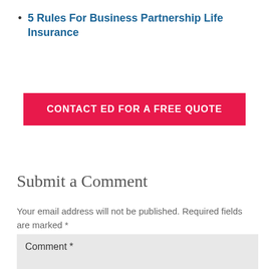5 Rules For Business Partnership Life Insurance
[Figure (other): Pink/red CTA button reading CONTACT ED FOR A FREE QUOTE]
Submit a Comment
Your email address will not be published. Required fields are marked *
Comment *